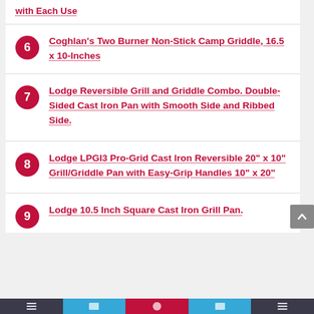with Each Use
6 Coghlan's Two Burner Non-Stick Camp Griddle, 16.5 x 10-Inches
7 Lodge Reversible Grill and Griddle Combo. Double-Sided Cast Iron Pan with Smooth Side and Ribbed Side.
8 Lodge LPGI3 Pro-Grid Cast Iron Reversible 20" x 10" Grill/Griddle Pan with Easy-Grip Handles 10" x 20"
9 Lodge 10.5 Inch Square Cast Iron Grill Pan.